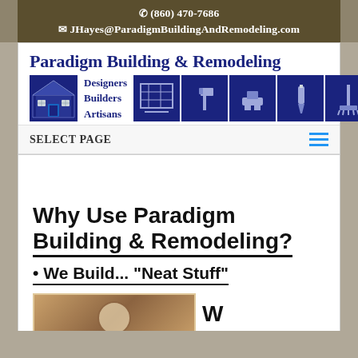(860) 470-7686
JHayes@ParadigmBuildingAndRemodeling.com
[Figure (logo): Paradigm Building & Remodeling logo with house icon, tagline 'Designers Builders Artisans', and tool icons on dark blue background]
Paradigm Building & Remodeling
Designers Builders Artisans
Select Page
Why Use Paradigm Building & Remodeling?
• We Build... "Neat Stuff"
[Figure (photo): Interior wood craftsmanship photo showing circular medallion on wooden floor/surface with warm brown tones]
W